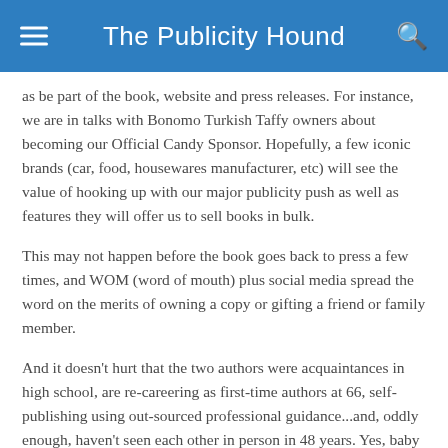The Publicity Hound
as be part of the book, website and press releases. For instance, we are in talks with Bonomo Turkish Taffy owners about becoming our Official Candy Sponsor. Hopefully, a few iconic brands (car, food, housewares manufacturer, etc) will see the value of hooking up with our major publicity push as well as features they will offer us to sell books in bulk.
This may not happen before the book goes back to press a few times, and WOM (word of mouth) plus social media spread the word on the merits of owning a copy or gifting a friend or family member.
And it doesn't hurt that the two authors were acquaintances in high school, are re-careering as first-time authors at 66, self-publishing using out-sourced professional guidance...and, oddly enough, haven't seen each other in person in 48 years. Yes, baby boomers are the active, engaged, healthy and wealthy group